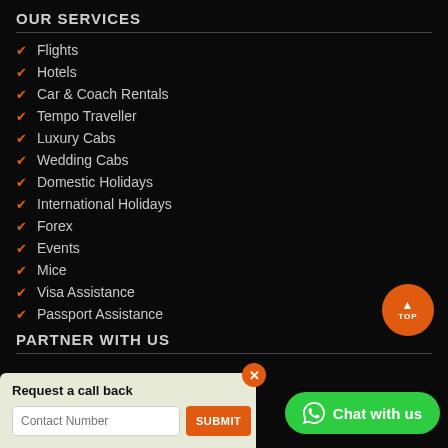OUR SERVICES
Flights
Hotels
Car & Coach Rentals
Tempo Traveller
Luxury Cabs
Wedding Cabs
Domestic Holidays
International Holidays
Forex
Events
Mice
Visa Assistance
Passport Assistance
PARTNER WITH US
Request a call back
Chat with us